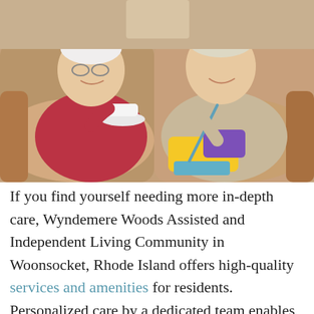[Figure (photo): Two elderly women sitting in armchairs, smiling and laughing together. The woman on the left wears a red top and holds a white teacup and saucer. The woman on the right wears a beige cardigan and is knitting a colorful yellow and purple project. They appear to be in a warm, comfortable living space.]
If you find yourself needing more in-depth care, Wyndemere Woods Assisted and Independent Living Community in Woonsocket, Rhode Island offers high-quality services and amenities for residents. Personalized care by a dedicated team enables us to deliver the level of physical and social support each resident requires. An aging in place option helps residents make a smooth transition from independent to assisted living.